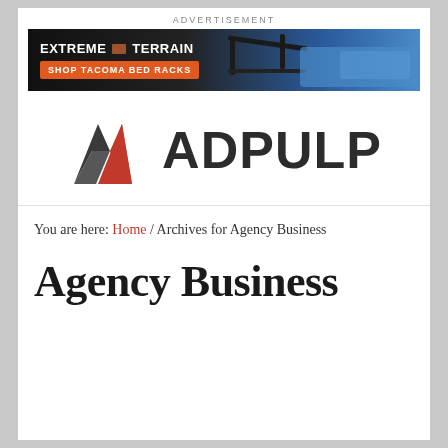ADVERTISEMENT
[Figure (photo): ExtremeTerrain advertisement banner showing 'SHOP TACOMA BED RACKS' with a blue truck on dark background]
[Figure (logo): ADPULP logo with a stylized A icon in dark grey and red, followed by the wordmark ADPULP in bold dark grey]
You are here: Home / Archives for Agency Business
Agency Business